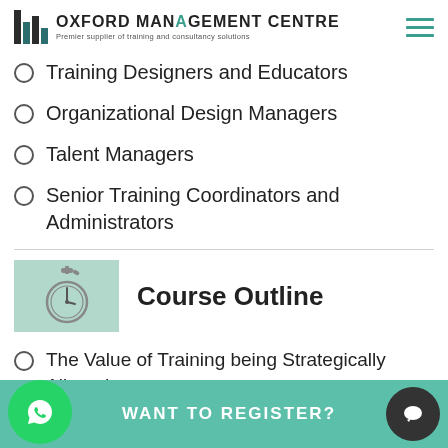[Figure (logo): Oxford Management Centre logo with bar chart icon and tagline 'Premier supplier of training and consultancy solutions']
Training Designers and Educators
Organizational Design Managers
Talent Managers
Senior Training Coordinators and Administrators
Course Outline
The Value of Training being Strategically Aligned
WANT TO REGISTER?